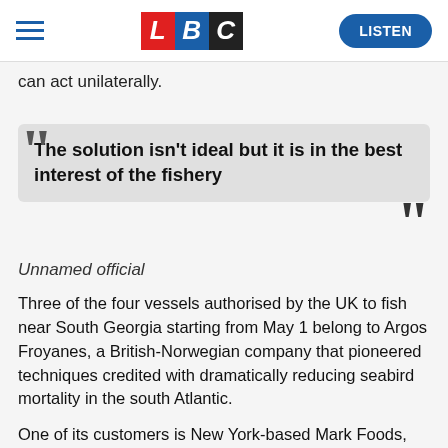LBC — LISTEN
can act unilaterally.
The solution isn't ideal but it is in the best interest of the fishery
Unnamed official
Three of the four vessels authorised by the UK to fish near South Georgia starting from May 1 belong to Argos Froyanes, a British-Norwegian company that pioneered techniques credited with dramatically reducing seabird mortality in the south Atlantic.
One of its customers is New York-based Mark Foods, the largest US supplier of sea bass certified by the Marine Stewardship Council, the industry's gold standard for